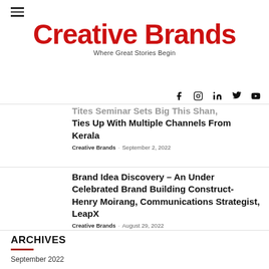[Figure (other): Hamburger menu icon (three horizontal lines)]
Creative Brands
Where Great Stories Begin
[Figure (other): Social media icons: Facebook, Instagram, LinkedIn, Twitter, YouTube]
Tites Seminar Sets Big This Shan, Ties Up With Multiple Channels From Kerala
Creative Brands · September 2, 2022
Brand Idea Discovery – An Under Celebrated Brand Building Construct- Henry Moirang, Communications Strategist, LeapX
Creative Brands · August 29, 2022
ARCHIVES
September 2022